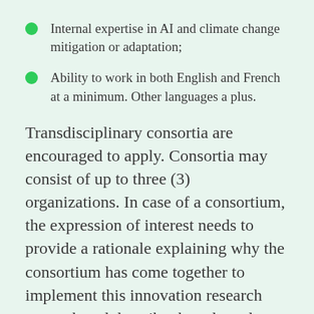Internal expertise in AI and climate change mitigation or adaptation;
Ability to work in both English and French at a minimum. Other languages a plus.
Transdisciplinary consortia are encouraged to apply. Consortia may consist of up to three (3) organizations. In case of a consortium, the expression of interest needs to provide a rationale explaining why the consortium has come together to implement this innovation research network and describe the role and added value provided by each member organization. Consortia must